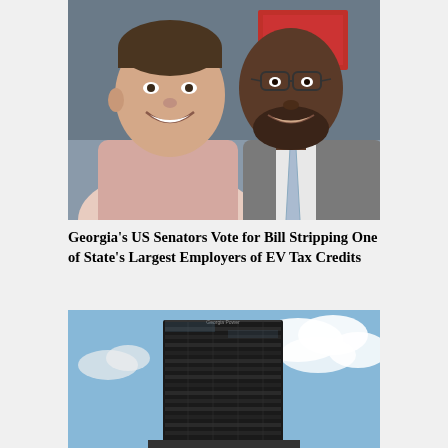[Figure (photo): Two men smiling: a younger white man in a light pink shirt on the left and an older Black man wearing glasses and a grey suit with a light blue tie on the right, standing in front of a building with red signage.]
Georgia's US Senators Vote for Bill Stripping One of State's Largest Employers of EV Tax Credits
[Figure (photo): A tall dark glass office tower (Georgia Power headquarters) against a partly cloudy blue sky.]